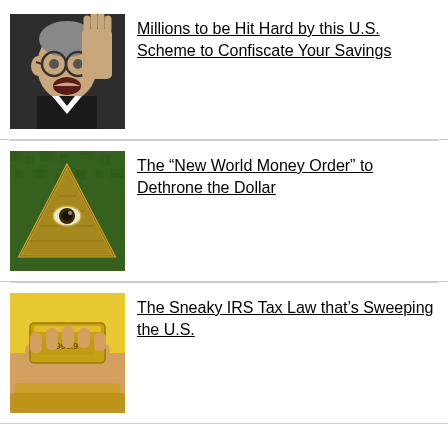[Figure (photo): Man with glasses raising hand, black and white photo]
Millions to be Hit Hard by this U.S. Scheme to Confiscate Your Savings
[Figure (photo): Illuminati pyramid with eye symbol on green background]
The “New World Money Order” to Dethrone the Dollar
[Figure (photo): Hand holding gold bar]
The Sneaky IRS Tax Law that’s Sweeping the U.S.
THE INSIDE STORY OF